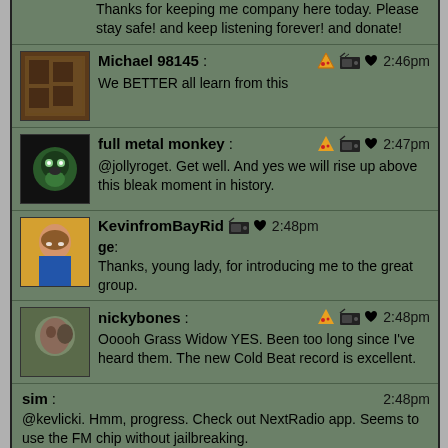Thanks for keeping me company here today. Please stay safe! and keep listening forever! and donate!
Michael 98145: [pizza icon] [radio icon] [heart] 2:46pm
We BETTER all learn from this
full metal monkey: [pizza icon] [radio icon] [heart] 2:47pm
@jollyroget. Get well. And yes we will rise up above this bleak moment in history.
KevinfromBayRidge: [radio icon] [heart] 2:48pm
Thanks, young lady, for introducing me to the great group.
nickybones: [pizza icon] [radio icon] [heart] 2:48pm
Ooooh Grass Widow YES. Been too long since I've heard them. The new Cold Beat record is excellent.
sim: 2:48pm
@kevlicki. Hmm, progress. Check out NextRadio app. Seems to use the FM chip without jailbreaking.
Dave: 2:53pm
I love the music but I think that the app is out of